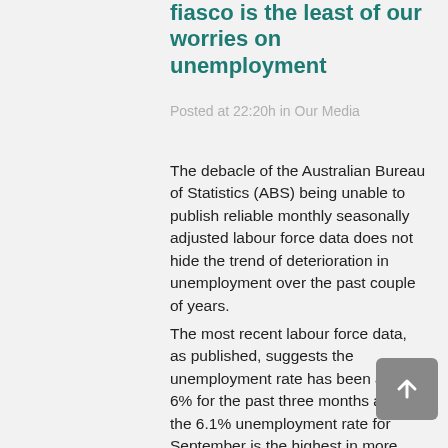fiasco is the least of our worries on unemployment
Posted at 22:20h in Our Media
The debacle of the Australian Bureau of Statistics (ABS) being unable to publish reliable monthly seasonally adjusted labour force data does not hide the trend of deterioration in unemployment over the past couple of years.
The most recent labour force data, as published, suggests the unemployment rate has been about 6% for the past three months and the 6.1% unemployment rate for September is the highest in more than a decade. There are no signs in other